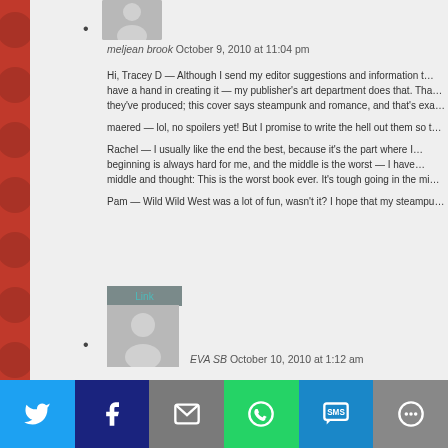[Figure (photo): Gray avatar silhouette placeholder image at top]
meljean brook October 9, 2010 at 11:04 pm

Hi, Tracey D — Although I send my editor suggestions and information t… have a hand in creating it — my publisher's art department does that. Tha… they've produced; this cover says steampunk and romance, and that's exa…

maered — lol, no spoilers yet! But I promise to write the hell out them so t…

Rachel — I usually like the end the best, because it's the part where I… beginning is always hard for me, and the middle is the worst — I have… middle and thought: This is the worst book ever. It's tough going in the mi…

Pam — Wild Wild West was a lot of fun, wasn't it? I hope that my steampu…
[Figure (photo): Gray avatar silhouette placeholder image at bottom with Link button]
EVA SB October 10, 2010 at 1:12 am
[Figure (infographic): Social sharing bar with Twitter, Facebook, Email, WhatsApp, SMS, and More buttons]